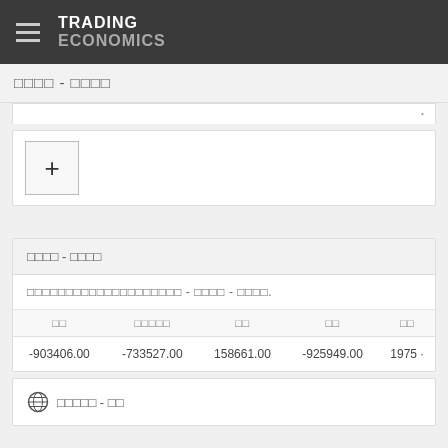TRADING ECONOMICS
□□□□ - □□□□
[Figure (other): Plus button UI element for adding content]
□□□□ - □□□□
□□□□□□□□□□□□□□□□□□□□ - □□□□ - □□□□.
| □□ | □□□□□ | □□ | □□ | □□ |
| --- | --- | --- | --- | --- |
| -903406.00 | -733527.00 | 158661.00 | -925949.00 | 1975 |
□□□□□ - □□